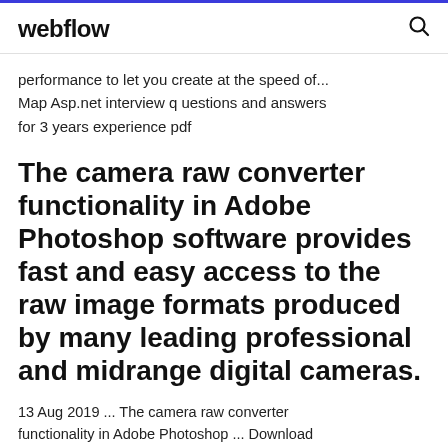webflow
performance to let you create at the speed of... Map Asp.net interview questions and answers for 3 years experience pdf
The camera raw converter functionality in Adobe Photoshop software provides fast and easy access to the raw image formats produced by many leading professional and midrange digital cameras.
13 Aug 2019 ... The camera raw converter functionality in Adobe Photoshop ... Download